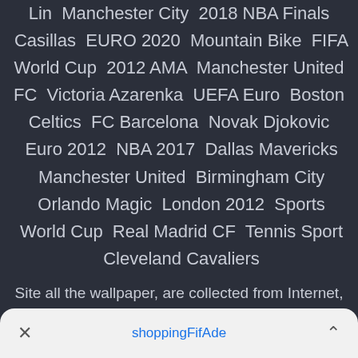Lin  Manchester City  2018 NBA Finals  Casillas  EURO 2020  Mountain Bike  FIFA World Cup  2012 AMA  Manchester United FC  Victoria Azarenka  UEFA Euro  Boston Celtics  FC Barcelona  Novak Djokovic  Euro 2012  NBA 2017  Dallas Mavericks  Manchester United  Birmingham City  Orlando Magic  London 2012  Sports  World Cup  Real Madrid CF  Tennis Sport  Cleveland Cavaliers
Site all the wallpaper, are collected from Internet, belongs to original author, please do not used for commercial purpose.
shoppingFIFАde